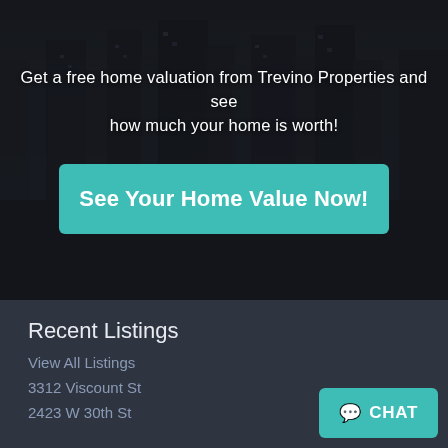[Figure (photo): Dark grayscale aerial cityscape/skyline photo used as hero background]
Get a free home valuation from Trevino Properties and see how much your home is worth!
See Your Home Value Now!
Recent Listings
View All Listings
3312 Viscount St
2423 W 30th St
CHAT